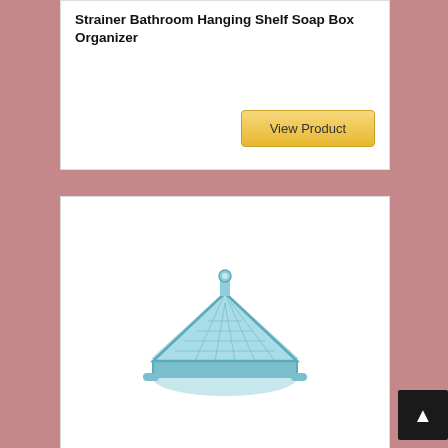Strainer Bathroom Hanging Shelf Soap Box Organizer
[Figure (other): A light blue triangular corner bathroom organizer/soap dish with a strainer bottom and mounting hook]
View Product